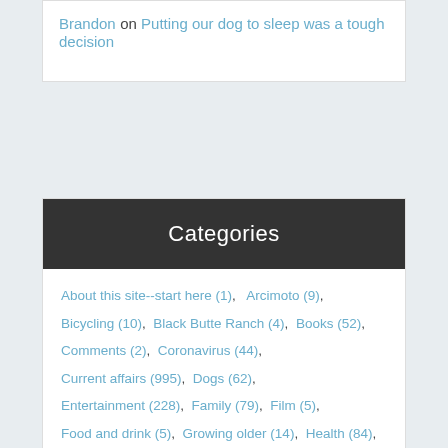Brandon on Putting our dog to sleep was a tough decision
Categories
About this site--start here (1), Arcimoto (9),
Bicycling (10), Black Butte Ranch (4), Books (52),
Comments (2), Coronavirus (44),
Current affairs (995), Dogs (62),
Entertainment (228), Family (79), Film (5),
Food and drink (5), Growing older (14), Health (84),
Home life (545), Humor (72), Investing (1),
Living with a catheter (25), Marijuana (42),